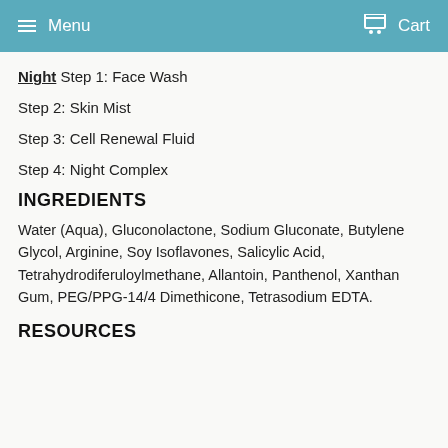Menu   Cart
Night Step 1: Face Wash
Step 2: Skin Mist
Step 3: Cell Renewal Fluid
Step 4: Night Complex
INGREDIENTS
Water (Aqua), Gluconolactone, Sodium Gluconate, Butylene Glycol, Arginine, Soy Isoflavones, Salicylic Acid, Tetrahydrodiferuloylmethane, Allantoin, Panthenol, Xanthan Gum, PEG/PPG-14/4 Dimethicone, Tetrasodium EDTA.
RESOURCES